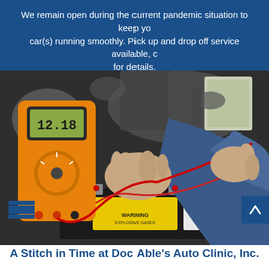We remain open during the current pandemic situation to keep your car(s) running smoothly. Pick up and drop off service available, call for details.
[Figure (photo): A mechanic using a multimeter (showing 12.18 reading) to test a car battery, with red test leads connected to the battery terminals. The mechanic is wearing a blue uniform.]
A Stitch in Time at Doc Able’s Auto Clinic, Inc.